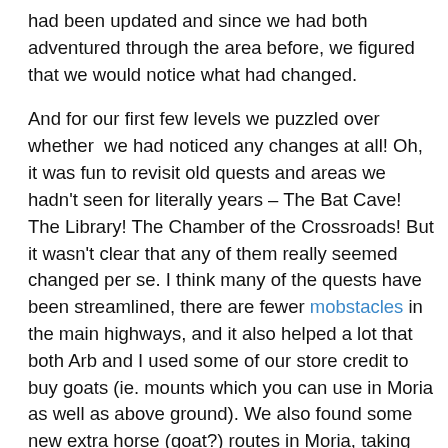had been updated and since we had both adventured through the area before, we figured that we would notice what had changed.
And for our first few levels we puzzled over whether we had noticed any changes at all! Oh, it was fun to revisit old quests and areas we hadn't seen for literally years – The Bat Cave! The Library! The Chamber of the Crossroads! But it wasn't clear that any of them really seemed changed per se. I think many of the quests have been streamlined, there are fewer mobstacles in the main highways, and it also helped a lot that both Arb and I used some of our store credit to buy goats (ie. mounts which you can use in Moria as well as above ground). We also found some new extra horse (goat?) routes in Moria, taking you swiftly to minor questgivers from the major settlements. If I hadn't mentioned this before by the way, Moria is big. Really big.